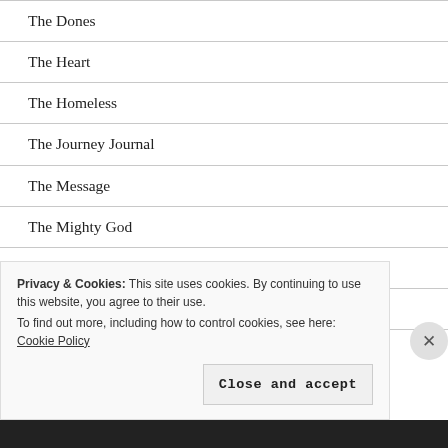The Dones
The Heart
The Homeless
The Journey Journal
The Message
The Mighty God
The Nature Of God
The Nones
The Po...
Privacy & Cookies: This site uses cookies. By continuing to use this website, you agree to their use.
To find out more, including how to control cookies, see here: Cookie Policy
Close and accept